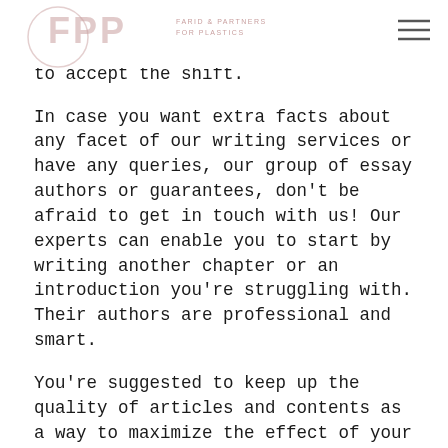FPP FARID & PARTNERS FOR PLASTICS
service is legit and ready to offer. Then you'll have the option deny or to accept the shift.
In case you want extra facts about any facet of our writing services or have any queries, our group of essay authors or guarantees, don't be afraid to get in touch with us! Our experts can enable you to start by writing another chapter or an introduction you're struggling with. Their authors are professional and smart.
You're suggested to keep up the quality of articles and contents as a way to maximize the effect of your own blogs. Many websites will pay you to compose posts and over time it is possible to produce some money. If